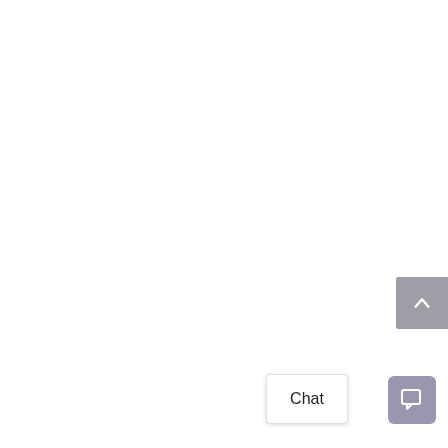[Figure (screenshot): Scroll-to-top button: a grey rounded rectangle at the right edge with a white upward chevron arrow]
Chat
[Figure (screenshot): Chat icon button: a mauve/purple-grey rounded square with a white speech bubble / chat icon]